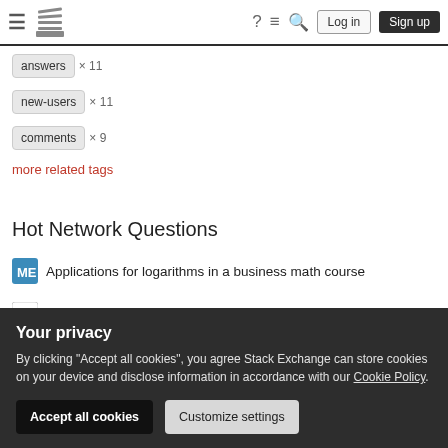Stack Exchange navigation with Log in and Sign up buttons
answers × 11
new-users × 11
comments × 9
more related tags
Hot Network Questions
Applications for logarithms in a business math course
Drawing a parallelopiped in TikZ
Could robots live in Antarctica?
Your privacy
By clicking "Accept all cookies", you agree Stack Exchange can store cookies on your device and disclose information in accordance with our Cookie Policy.
Accept all cookies  Customize settings
become "adelized"?